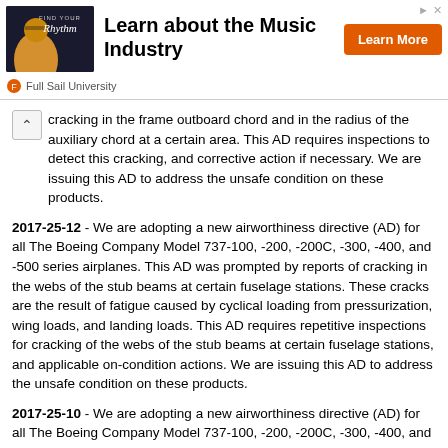[Figure (other): Advertisement banner for Full Sail University — 'Learn about the Music Industry' with Learn More button and university logo]
cracking in the frame outboard chord and in the radius of the auxiliary chord at a certain area. This AD requires inspections to detect this cracking, and corrective action if necessary. We are issuing this AD to address the unsafe condition on these products.
2017-25-12 - We are adopting a new airworthiness directive (AD) for all The Boeing Company Model 737-100, -200, -200C, -300, -400, and -500 series airplanes. This AD was prompted by reports of cracking in the webs of the stub beams at certain fuselage stations. These cracks are the result of fatigue caused by cyclical loading from pressurization, wing loads, and landing loads. This AD requires repetitive inspections for cracking of the webs of the stub beams at certain fuselage stations, and applicable on-condition actions. We are issuing this AD to address the unsafe condition on these products.
2017-25-10 - We are adopting a new airworthiness directive (AD) for all The Boeing Company Model 737-100, -200, -200C, -300, -400, and -500 series airplanes. This AD was prompted by a report indicating that wear of the bearing plate slider bushings could cause disconnection of certain elevator hinges, which could excite the horizontal stabilizer under certain in-flight speed/altitude conditions and lead to degradation of the structure. This AD requires repetitive inspections and checks of certain elements and other related actions.